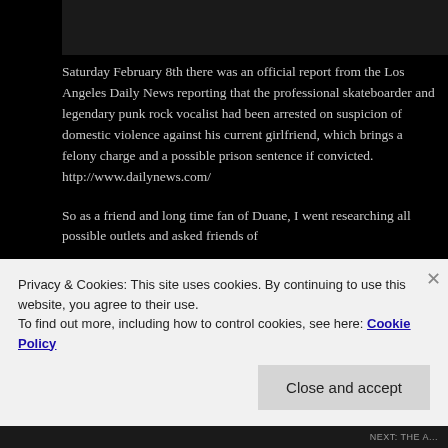[Figure (photo): Partial photo at top of page, dark toned image showing what appears to be a person, mostly cut off at top]
Saturday February 8th there was an official report from the Los Angeles Daily News reporting that the professional skateboarder and legendary punk rock vocalist had been arrested on suspicion of domestic violence against his current girlfriend, which brings a felony charge and a possible prison sentence if convicted. http://www.dailynews.com/
So as a friend and long time fan of Duane, I went researching all possible outlets and asked friends of
Privacy & Cookies: This site uses cookies. By continuing to use this website, you agree to their use.
To find out more, including how to control cookies, see here: Cookie Policy
Close and accept